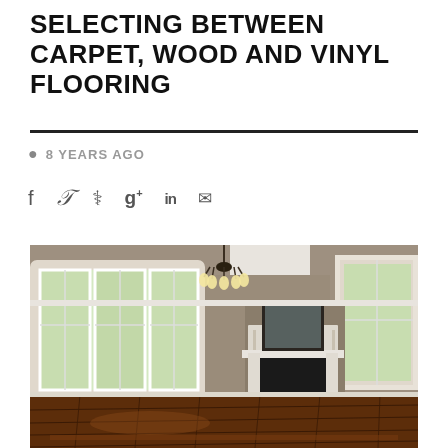SELECTING BETWEEN CARPET, WOOD AND VINYL FLOORING
8 YEARS AGO
[Figure (photo): Elegant empty living room with dark hardwood floors, large windows with white trim, a white fireplace mantel with a mirror above it, and a chandelier hanging from the ceiling. Walls are painted in a warm taupe/gray color.]